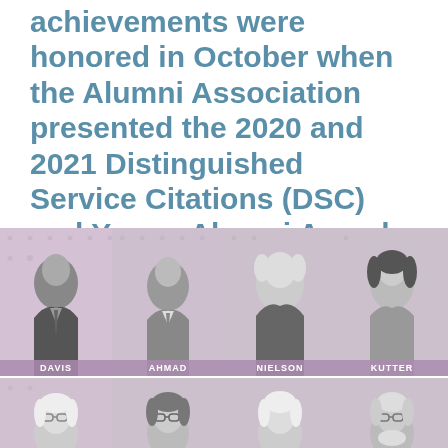achievements were honored in October when the Alumni Association presented the 2020 and 2021 Distinguished Service Citations (DSC) and Young Alumni Awards (YAA).
[Figure (photo): Row of four black-and-white headshot photos of award recipients labeled DAVIS, AHMAD, NIELSON, KUTTER against a pink-purple halftone background]
[Figure (photo): Row of four black-and-white headshot photos of additional award recipients (names cut off at bottom of page) against a pink-purple halftone background]